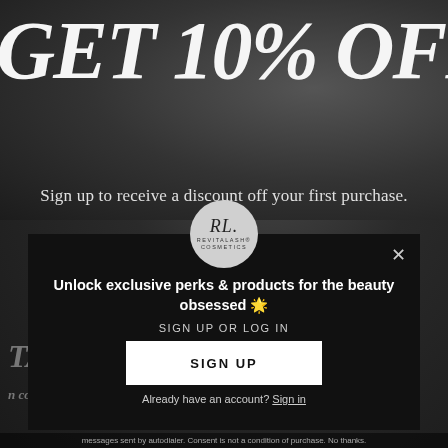GET 10% OFF
Sign up to receive a discount off your first purchase.
[Figure (logo): RevitaLash Cosmetics circular logo in grey circle]
Unlock exclusive perks & products for the beauty obsessed 🌟
SIGN UP OR LOG IN
SIGN UP
Already have an account? Sign in
messages sent by autodialer. Consent is not a condition of purchase. No thanks.